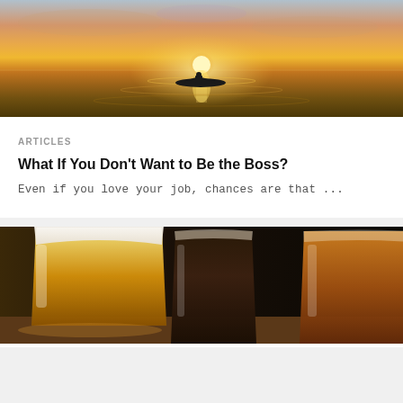[Figure (photo): Person kayaking on calm water at sunset, with warm orange and golden sky reflected on the water surface]
ARTICLES
What If You Don't Want to Be the Boss?
Even if you love your job, chances are that ...
[Figure (photo): Close-up of beer glasses filled with golden and dark beer on a table]